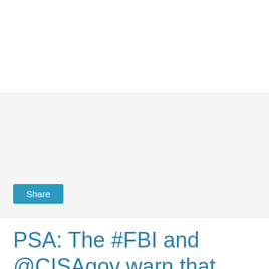[Figure (screenshot): Share card / embedded media area with light gray background and a teal Share button in the bottom left]
PSA: The #FBI and @CISAgov warn that cyber actors may spread false claims about hacked voter information to cast doubt on the legitimacy of U.S. elections. Beware of disinformation regarding cyberattacks on voter registration databases or voting